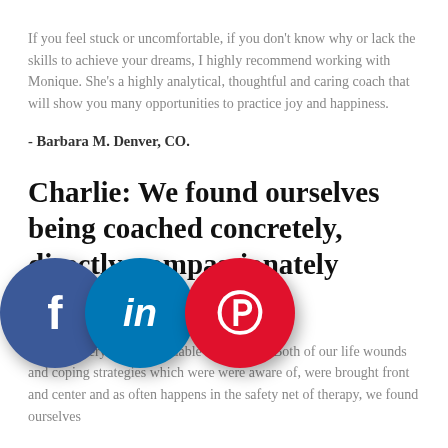If you feel stuck or uncomfortable, if you don't know why or lack the skills to achieve your dreams, I highly recommend working with Monique. She's a highly analytical, thoughtful and caring coach that will show you many opportunities to practice joy and happiness.
- Barbara M. Denver, CO.
Charlie: We found ourselves being coached concretely, directly, compassionately ★★★★★
This was very much a valuable experience. Both of our life wounds and coping strategies which were were aware of, were brought front and center and as often happens in the safety net of therapy, we found ourselves
[Figure (illustration): Three overlapping social media icon circles: Facebook (blue, f), LinkedIn (light blue, in), Pinterest (red, p)]